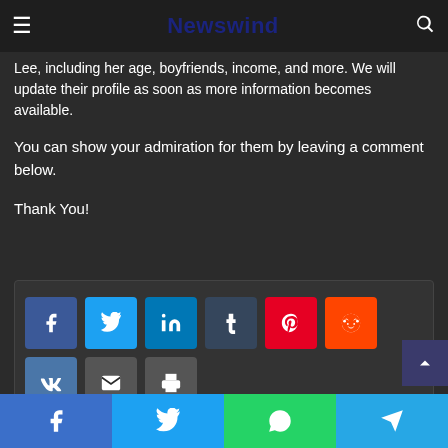Newswind
Lee, including her age, boyfriends, income, and more. We will update their profile as soon as more information becomes available.
You can show your admiration for them by leaving a comment below.
Thank You!
[Figure (other): Social share buttons: Facebook, Twitter, LinkedIn, Tumblr, Pinterest, Reddit, VK, Email, Print]
[Figure (other): Bottom social sharing bar with Facebook, Twitter, WhatsApp, Telegram icons]